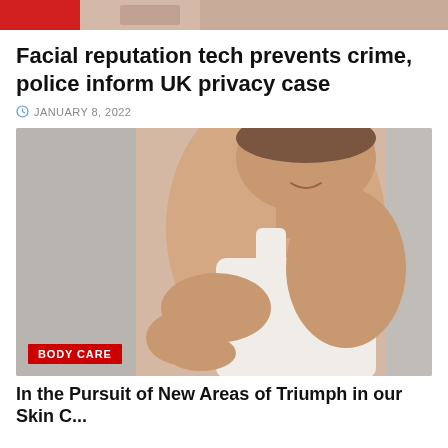[Figure (photo): Partial top image strip showing a red label/logo and a face/skin photo cropped to a narrow horizontal band]
Facial reputation tech prevents crime, police inform UK privacy case
JANUARY 8, 2022
[Figure (photo): A smiling woman in a white top touching her arm, against a light grey background, with a red BODY CARE badge overlay at the bottom left]
BODY CARE
In the Pursuit of New Areas of Triumph in our Skin C...